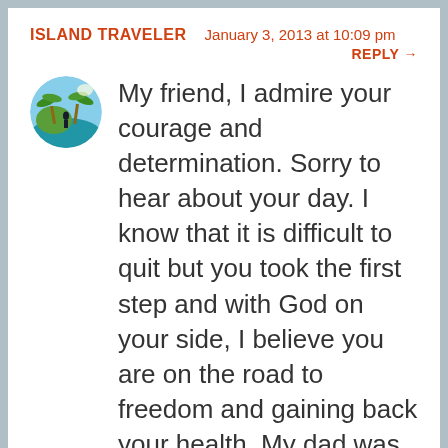ISLAND TRAVELER   January 3, 2013 at 10:09 pm
REPLY →
[Figure (photo): Circular avatar photo showing a tropical island scene with blue water, palm trees, and a person silhouette]
My friend, I admire your courage and determination. Sorry to hear about your day. I know that it is difficult to quit but you took the first step and with God on your side, I believe you are on the road to freedom and gaining back your health. My dad was a smoker. He quit in his late 30's then started smoking again after being away from his family during a job